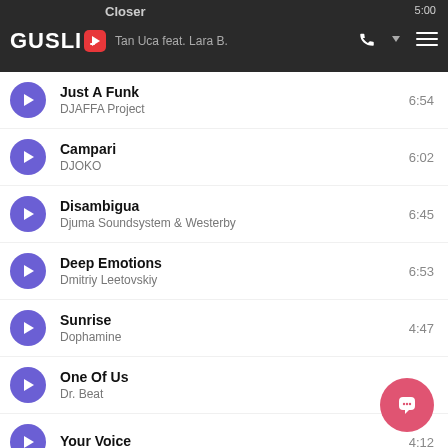GUSLI — Closer, Tan Uca feat. Lara B. — 5:00
Just A Funk — DJAFFA Project — 6:54
Campari — DJOKO — 6:02
Disambigua — Djuma Soundsystem & Westerby — 6:45
Deep Emotions — Dmitriy Leetovskiy — 6:53
Sunrise — Dophamine — 4:47
One Of Us — Dr. Beat
Your Voice — 4:12